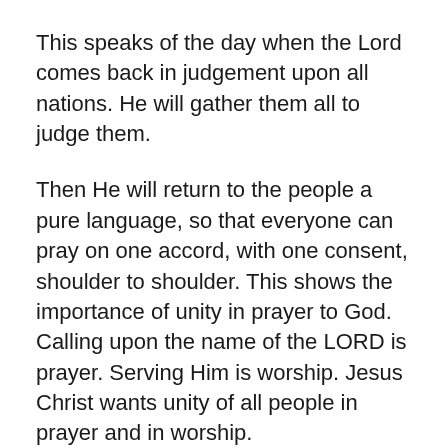This speaks of the day when the Lord comes back in judgement upon all nations. He will gather them all to judge them.
Then He will return to the people a pure language, so that everyone can pray on one accord, with one consent, shoulder to shoulder. This shows the importance of unity in prayer to God. Calling upon the name of the LORD is prayer. Serving Him is worship. Jesus Christ wants unity of all people in prayer and in worship.
This is also the reversal of what God did at the Tower of Babel. Notice He said that He would return to the people a pure language. In Genesis 11 God confused all of the languages of the people so that they could be split up. They wanted to build a tower to reach heaven, or access the ...